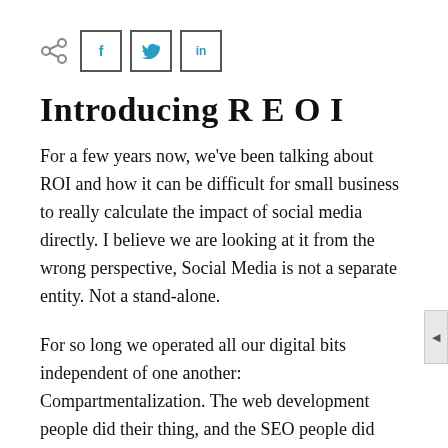[Figure (other): Social share bar with share icon and three social media buttons: f (Facebook), bird (Twitter), in (LinkedIn)]
Introducing R E O I
For a few years now, we've been talking about ROI and how it can be difficult for small business to really calculate the impact of social media directly. I believe we are looking at it from the wrong perspective, Social Media is not a separate entity. Not a stand-alone.
For so long we operated all our digital bits independent of one another: Compartmentalization. The web development people did their thing, and the SEO people did theirs, and the social media people were off on their missions. None of them interacted. None of